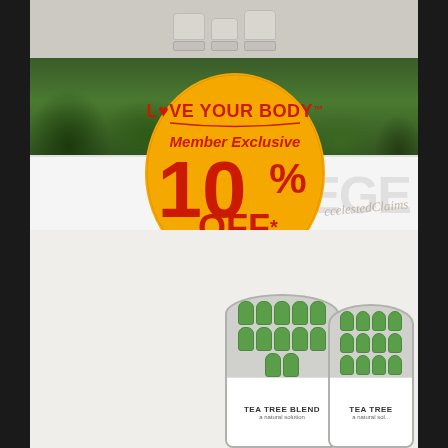[Figure (photo): Retail store shelf display showing a Love Your Body Member Exclusive 10% OFF promotional badge on an orange oval sign, with Tea Tree Blend product canisters and small white capsule products on the shelf below. The background shows a nature/forest themed banner.]